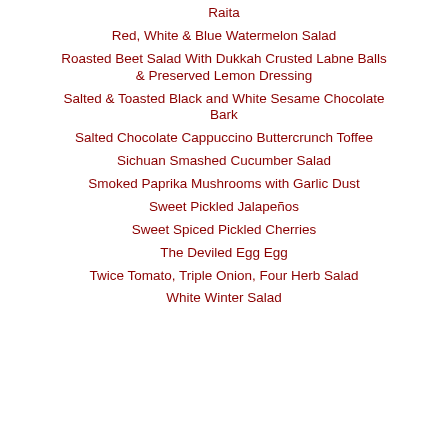Raita
Red, White & Blue Watermelon Salad
Roasted Beet Salad With Dukkah Crusted Labne Balls & Preserved Lemon Dressing
Salted & Toasted Black and White Sesame Chocolate Bark
Salted Chocolate Cappuccino Buttercrunch Toffee
Sichuan Smashed Cucumber Salad
Smoked Paprika Mushrooms with Garlic Dust
Sweet Pickled Jalapeños
Sweet Spiced Pickled Cherries
The Deviled Egg Egg
Twice Tomato, Triple Onion, Four Herb Salad
White Winter Salad